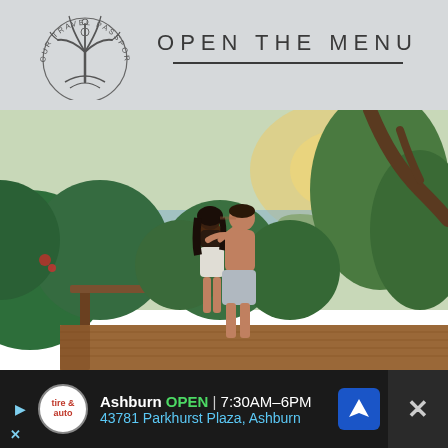[Figure (logo): Our Travel Passport circular logo with palm tree illustration]
OPEN THE MENU
[Figure (photo): A couple standing on a wooden deck surrounded by lush tropical jungle with ocean and sunset visible in the background]
Ashburn OPEN 7:30AM–6PM 43781 Parkhurst Plaza, Ashburn